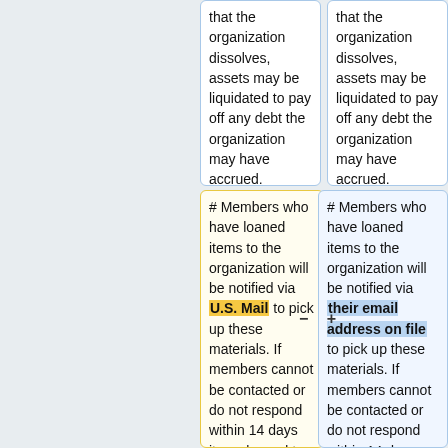that the organization dissolves, assets may be liquidated to pay off any debt the organization may have accrued.
that the organization dissolves, assets may be liquidated to pay off any debt the organization may have accrued.
# Members who have loaned items to the organization will be notified via U.S. Mail to pick up these materials. If members cannot be contacted or do not respond within 14 days items loaned to will be treated as a asset of
# Members who have loaned items to the organization will be notified via their email address on file to pick up these materials. If members cannot be contacted or do not respond within 14 days, items loaned to Knox Makers